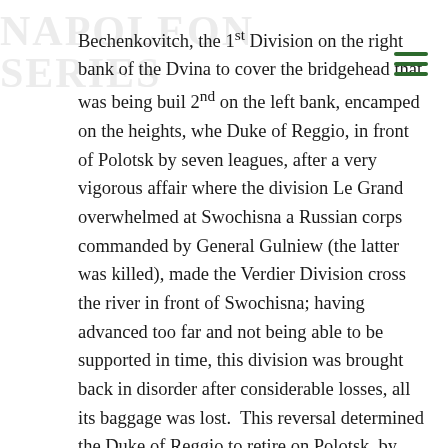Bechenkovitch, the 1st Division on the right bank of the Dvina to cover the bridgehead that was being built 2nd on the left bank, encamped on the heights, where the Duke of Reggio, in front of Polotsk by seven leagues, after a very vigorous affair where the division Le Grand overwhelmed at Swochisna a Russian corps commanded by General Gulniew (the latter was killed), made the Verdier Division cross the river in front of Swochisna; having advanced too far and not being able to be supported in time, this division was brought back in disorder after considerable losses, all its baggage was lost.  This reversal determined the Duke of Reggio to retire on Polotsk, by Beloye (Belaya); the bulletins spoke only of the good affair of General Le Grand but did not say a word of that of General Verdier.
The 6th Corps received the order on 7 August to move to Polotsk to support the 2nd, it arrived there on the 7th, following the left bank, then went to the right bank...